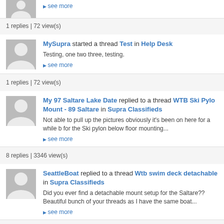1 replies | 72 view(s)
MySupra started a thread Test in Help Desk
Testing, one two three, testing.
see more
1 replies | 72 view(s)
My 97 Saltare Lake Date replied to a thread WTB Ski Pylon Mount - 89 Saltare in Supra Classifieds
Not able to pull up the pictures obviously it's been on here for a while b for the Ski pylon below floor mounting...
see more
8 replies | 3346 view(s)
SeattleBoat replied to a thread Wtb swim deck detachable in Supra Classifieds
Did you ever find a detachable mount setup for the Saltare?? Beautiful bunch of your threads as I have the same boat...
see more
1 replies | 532 view(s)